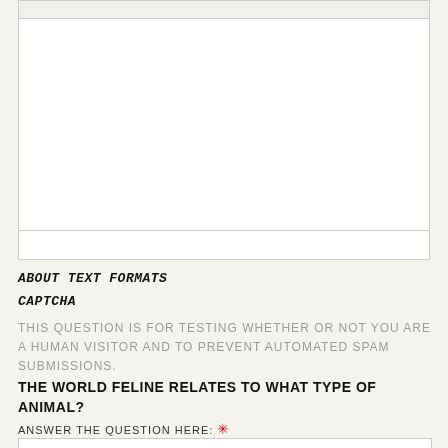[Figure (screenshot): Large white textarea input box with a toolbar bar at the top and a smaller input field below it]
ABOUT TEXT FORMATS
CAPTCHA
THIS QUESTION IS FOR TESTING WHETHER OR NOT YOU ARE A HUMAN VISITOR AND TO PREVENT AUTOMATED SPAM SUBMISSIONS.
THE WORLD FELINE RELATES TO WHAT TYPE OF ANIMAL?
ANSWER THE QUESTION HERE: *